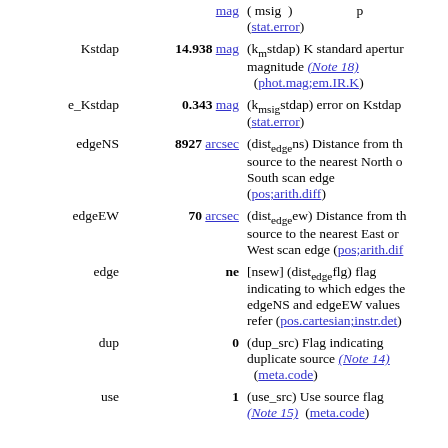| Name | Value | Description |
| --- | --- | --- |
| Kstdap | 14.938 mag | (k_m stdap) K standard aperture magnitude (Note 18) (phot.mag;em.IR.K) |
| e_Kstdap | 0.343 mag | (k_msig stdap) error on Kstdap (stat.error) |
| edgeNS | 8927 arcsec | (dist_edge ns) Distance from the source to the nearest North or South scan edge (pos;arith.diff) |
| edgeEW | 70 arcsec | (dist_edge ew) Distance from the source to the nearest East or West scan edge (pos;arith.diff) |
| edge | ne | [nsew] (dist_edge flg) flag indicating to which edges the edgeNS and edgeEW values refer (pos.cartesian;instr.det) |
| dup | 0 | (dup_src) Flag indicating duplicate source (Note 14) (meta.code) |
| use | 1 | (use_src) Use source flag (Note 15) (meta.code) |